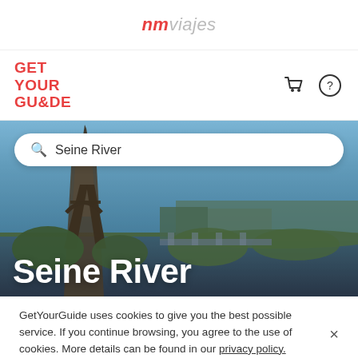nmviajes
[Figure (logo): GetYourGuide logo in red bold text, with shopping cart and help icons on the right]
[Figure (photo): Hero image of the Eiffel Tower and Seine River in Paris, with a search bar overlay showing 'Seine River' and large white bold text 'Seine River' at the bottom]
GetYourGuide uses cookies to give you the best possible service. If you continue browsing, you agree to the use of cookies. More details can be found in our privacy policy.